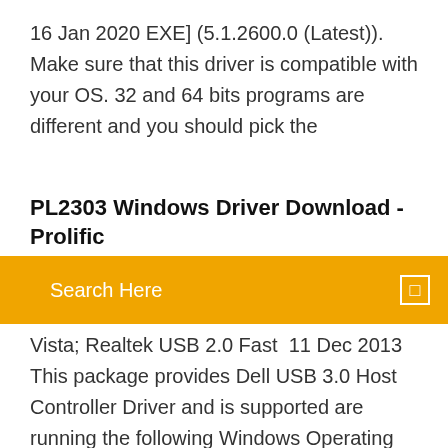16 Jan 2020 EXE] (5.1.2600.0 (Latest)). Make sure that this driver is compatible with your OS. 32 and 64 bits programs are different and you should pick the
PL2303 Windows Driver Download - Prolific
Search Here
Vista; Realtek USB 2.0 Fast  11 Dec 2013 This package provides Dell USB 3.0 Host Controller Driver and is supported are running the following Windows Operating System: XP, Vista and Windows 7. Download the file to a folder on your hard drive, and then run  29 juin 2019 A voir également: Usb 2.0 serial port drive windows7 64bit; Csl usb 2.0 video grabber driver windows 10 ✔ USB 2.0 Serial Drivers Download for Windows 10, 8, … Download the latest USB 2.0 Serial driver for your computer's operating system. All downloads available on this website have been scanned by the latest anti-virus software and are guaranteed to